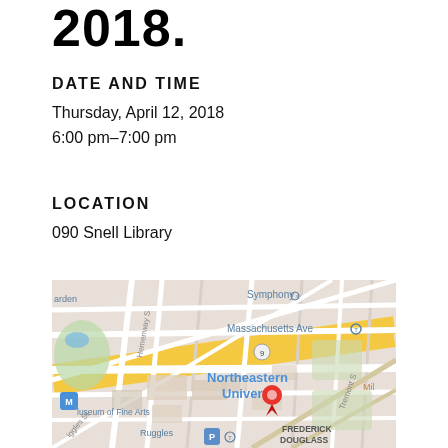2018.
DATE AND TIME
Thursday, April 12, 2018
6:00 pm–7:00 pm
LOCATION
090 Snell Library
[Figure (map): Google Maps view centered on Northeastern University campus in Boston, showing Symphony, Massachusetts Ave T stop, Ruggles station, Museum of Fine Arts, Frederick Douglass Square, and a red location pin marker on the Northeastern University campus.]